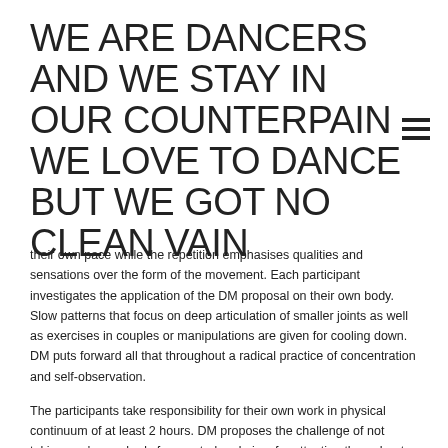WE ARE DANCERS AND WE STAY IN OUR COUNTERPAIN WE LOVE TO DANCE BUT WE GOT NO CLEAN VAIN
their own pace while the repetition emphasises qualities and sensations over the form of the movement. Each participant investigates the application of the DM proposal on their own body. Slow patterns that focus on deep articulation of smaller joints as well as exercises in couples or manipulations are given for cooling down. DM puts forward all that throughout a radical practice of concentration and self-observation.
The participants take responsibility for their own work in physical continuum of at least 2 hours. DM proposes the challenge of not taking one's own body for granted and aims for attention throughout the physical overload of such intensive practice. The aimed intensity stimulates the development of condition, strength, flexibility, coordination and also proposes a conjunction of